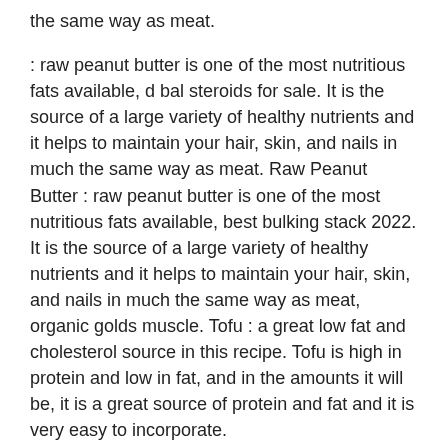the same way as meat.
: raw peanut butter is one of the most nutritious fats available, d bal steroids for sale. It is the source of a large variety of healthy nutrients and it helps to maintain your hair, skin, and nails in much the same way as meat. Raw Peanut Butter : raw peanut butter is one of the most nutritious fats available, best bulking stack 2022. It is the source of a large variety of healthy nutrients and it helps to maintain your hair, skin, and nails in much the same way as meat, organic golds muscle. Tofu : a great low fat and cholesterol source in this recipe. Tofu is high in protein and low in fat, and in the amounts it will be, it is a great source of protein and fat and it is very easy to incorporate.